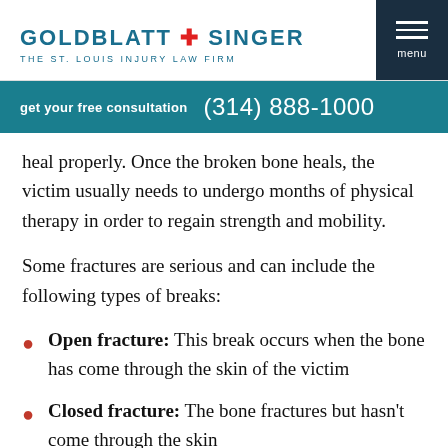GOLDBLATT + SINGER THE ST. LOUIS INJURY LAW FIRM
get your free consultation  (314) 888-1000
heal properly. Once the broken bone heals, the victim usually needs to undergo months of physical therapy in order to regain strength and mobility.
Some fractures are serious and can include the following types of breaks:
Open fracture: This break occurs when the bone has come through the skin of the victim
Closed fracture: The bone fractures but hasn't come through the skin